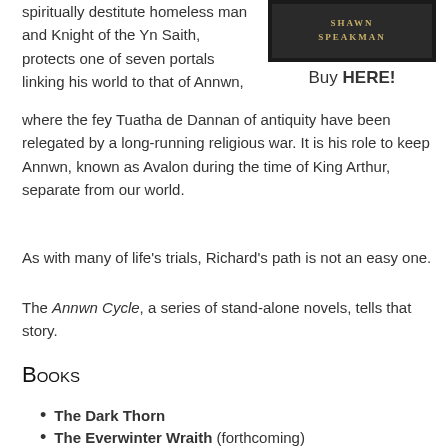spiritually destitute homeless man and Knight of the Yn Saith, protects one of seven portals linking his world to that of Annwn, where the fey Tuatha de Dannan of antiquity have been relegated by a long-running religious war. It is his role to keep Annwn, known as Avalon during the time of King Arthur, separate from our world.
[Figure (photo): Book cover image with author name SHAWN SPEAKMAN on dark background]
Buy HERE!
As with many of life's trials, Richard's path is not an easy one.
The Annwn Cycle, a series of stand-alone novels, tells that story.
Books
The Dark Thorn
The Everwinter Wraith (forthcoming)
The Splintered King (forthcoming)